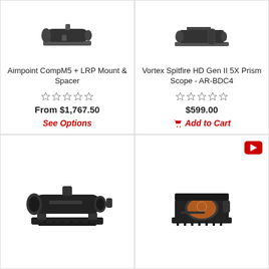Aimpoint CompM5 + LRP Mount & Spacer
From $1,767.50
See Options
Vortex Spitfire HD Gen II 5X Prism Scope - AR-BDC4
$599.00
Add to Cart
[Figure (photo): Red dot / tube scope sight product photo, bottom-left card]
[Figure (photo): Compact open red dot sight product photo, bottom-right card]